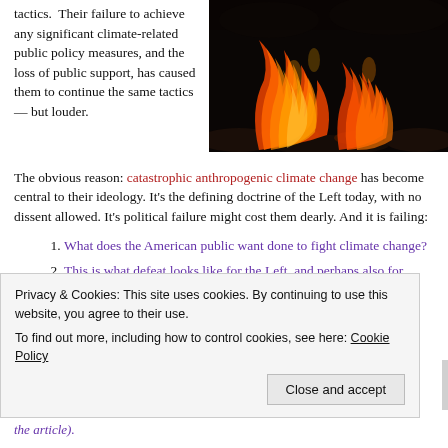tactics.  Their failure to achieve any significant climate-related public policy measures, and the loss of public support, has caused them to continue the same tactics — but louder.
[Figure (photo): Photo of glowing orange fire/flames against dark background]
The obvious reason: catastrophic anthropogenic climate change has become central to their ideology. It's the defining doctrine of the Left today, with no dissent allowed. It's political failure might cost them dearly. And it is failing:
What does the American public want done to fight climate change?
This is what defeat looks like for the Left, and perhaps also for environmentalists
(2). The road not taken: an alternative response to
Privacy & Cookies: This site uses cookies. By continuing to use this website, you agree to their use.
To find out more, including how to control cookies, see here: Cookie Policy
the article).